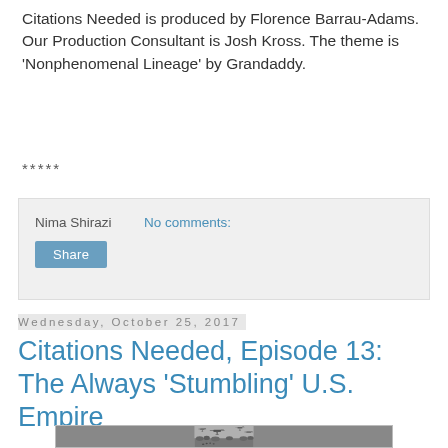Citations Needed is produced by Florence Barrau-Adams. Our Production Consultant is Josh Kross. The theme is 'Nonphenomenal Lineage' by Grandaddy.
*****
Nima Shirazi    No comments:
Share
Wednesday, October 25, 2017
Citations Needed, Episode 13: The Always 'Stumbling' U.S. Empire
[Figure (photo): Black and white photograph of military helicopters flying over a jungle landscape with people visible on the ground below.]